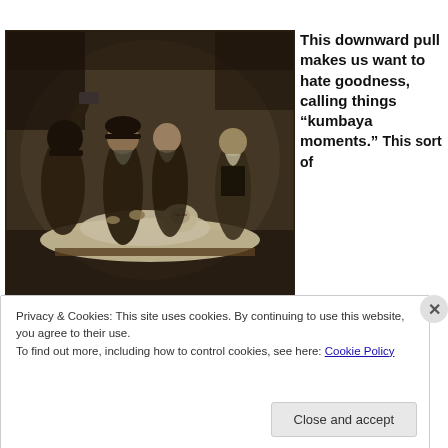[Figure (illustration): A dark sepia-toned historical painting showing several robed/cloaked figures gathered around a prone figure lying on a table or surface. One figure raises an arm holding what appears to be a hammer or mallet. The scene is dramatic and dark in tone.]
This downward pull makes us want to hate goodness, calling things “kumbaya moments.” This sort of
Privacy & Cookies: This site uses cookies. By continuing to use this website, you agree to their use.
To find out more, including how to control cookies, see here: Cookie Policy
Close and accept